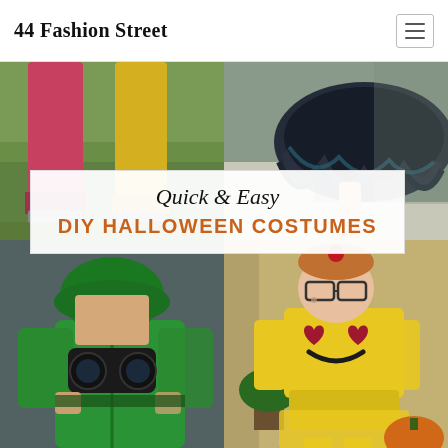44 Fashion Street
[Figure (photo): Collage of Halloween costume photos: top-left shows children's legs in colorful pants on grass, top-right shows a dark tutu skirt, bottom-left shows a child in a green army soldier costume, bottom-right shows a girl in a yellow emoji t-shirt costume with heart eyes]
Quick & Easy DIY HALLOWEEN COSTUMES